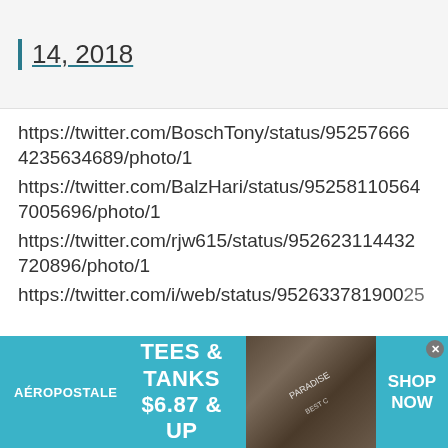14, 2018
https://twitter.com/BoschTony/status/952576664235634689/photo/1
https://twitter.com/BalzHari/status/952581105647005696/photo/1
https://twitter.com/rjw615/status/952623114432720896/photo/1
https://twitter.com/i/web/status/952633781900...
[Figure (screenshot): Aeropostale advertisement banner: TEES & TANKS $6.87 & UP with SHOP NOW text and clothing image]